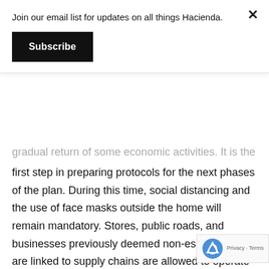Join our email list for updates on all things Hacienda.
Subscribe
gradual return of some economic activities. It is the first step in preparing protocols for the next phases of the plan. During this time, social distancing and the use of face masks outside the home will remain mandatory. Stores, public roads, and businesses previously deemed non-essential that are linked to supply chains are allowed to operate at 50 percent of capacity. Select businesses that do not generate crowds and adhere to social distancing guidelines will also be permitted to open.
Beaches, public spaces, shopping malls, bars, ar…